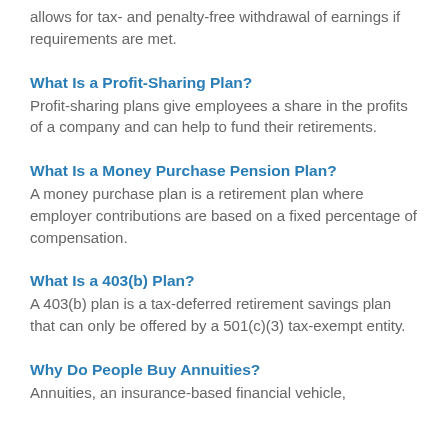allows for tax- and penalty-free withdrawal of earnings if requirements are met.
What Is a Profit-Sharing Plan?
Profit-sharing plans give employees a share in the profits of a company and can help to fund their retirements.
What Is a Money Purchase Pension Plan?
A money purchase plan is a retirement plan where employer contributions are based on a fixed percentage of compensation.
What Is a 403(b) Plan?
A 403(b) plan is a tax-deferred retirement savings plan that can only be offered by a 501(c)(3) tax-exempt entity.
Why Do People Buy Annuities?
Annuities, an insurance-based financial vehicle,